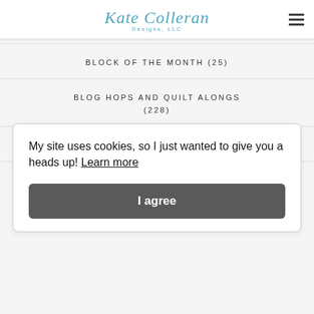Kate Colleran Designs, LLC
BLOCK OF THE MONTH (25)
BLOG HOPS AND QUILT ALONGS (228)
EXPLORING QUILTING BASICS (67)
My site uses cookies, so I just wanted to give you a heads up! Learn more
I agree